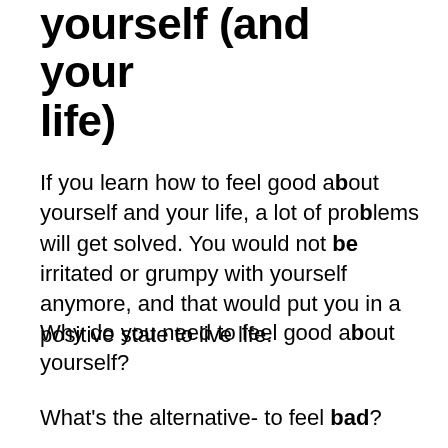yourself (and your life)
If you learn how to feel good about yourself and your life, a lot of problems will get solved. You would not be irritated or grumpy with yourself anymore, and that would put you in a positive state to live life.
Why do you need to feel good about yourself?
What's the alternative- to feel bad?